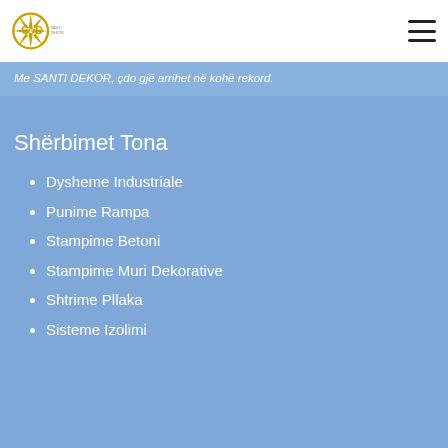GSD logo and navigation
Me SANTI DEKOR, çdo gjë arrihet në kohë rekord.
Shërbimet Tona
Dysheme Industriale
Punime Rampa
Stampime Betoni
Stampime Muri Dekorative
Shtrime Pllaka
Sisteme Izolimi